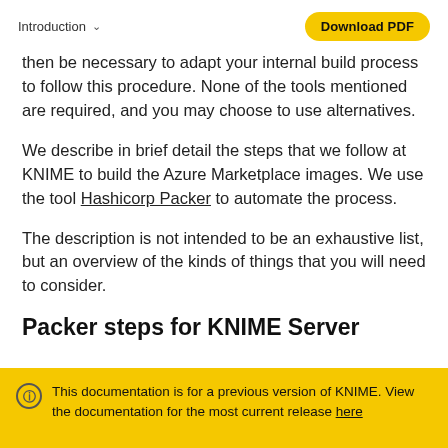Introduction   Download PDF
then be necessary to adapt your internal build process to follow this procedure. None of the tools mentioned are required, and you may choose to use alternatives.
We describe in brief detail the steps that we follow at KNIME to build the Azure Marketplace images. We use the tool Hashicorp Packer to automate the process.
The description is not intended to be an exhaustive list, but an overview of the kinds of things that you will need to consider.
Packer steps for KNIME Server
This documentation is for a previous version of KNIME. View the documentation for the most current release here